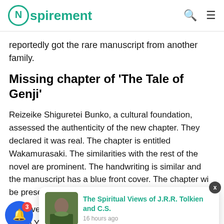Nspirement
reportedly got the rare manuscript from another family.
Missing chapter of ‘The Tale of Genji’
Reizeike Shiguretei Bunko, a cultural foundation, assessed the authenticity of the new chapter. They declared it was real. The chapter is entitled Wakamurasaki. The similarities with the rest of the novel are prominent. The handwriting is similar and the manuscript has a blue front cover. The chapter will be preserved a
to Universi
Junko Yamamoto lauded the discovery, saying it holds
[Figure (screenshot): Popup notification card showing 'The Spiritual Views of J.R.R. Tolkien and C.S.' with a thumbnail image, timestamped '16 hours ago', with close button (x). Notification bell button with badge showing '3' in bottom left.]